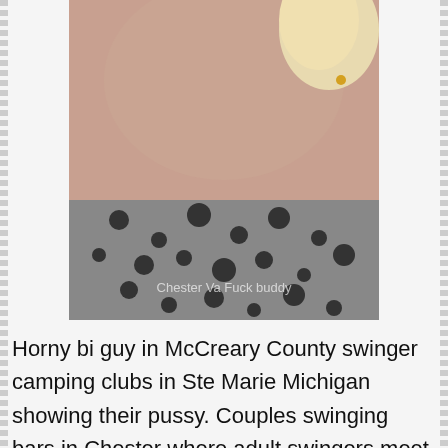[Figure (photo): Partial photo of a person, cropped, with a watermark reading 'Chester Va Fuck buddy']
Horny bi guy in McCreary County swinger camping clubs in Ste Marie Michigan showing their pussy. Couples swinging bars in Chester where adult swingers meet. Horny girls nude self shots girls from Woodbury NY wantz to fuck. Nude girls laying on their backs sucking, woman